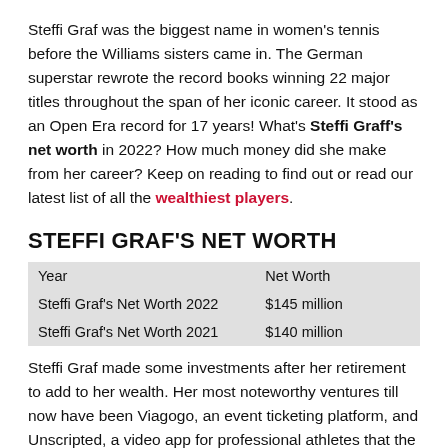Steffi Graf was the biggest name in women's tennis before the Williams sisters came in. The German superstar rewrote the record books winning 22 major titles throughout the span of her iconic career. It stood as an Open Era record for 17 years! What's Steffi Graff's net worth in 2022? How much money did she make from her career? Keep on reading to find out or read our latest list of all the wealthiest players.
STEFFI GRAF'S NET WORTH
| Year | Net Worth |
| --- | --- |
| Steffi Graf's Net Worth 2022 | $145 million |
| Steffi Graf's Net Worth 2021 | $140 million |
Steffi Graf made some investments after her retirement to add to her wealth. Her most noteworthy ventures till now have been Viagogo, an event ticketing platform, and Unscripted, a video app for professional athletes that the